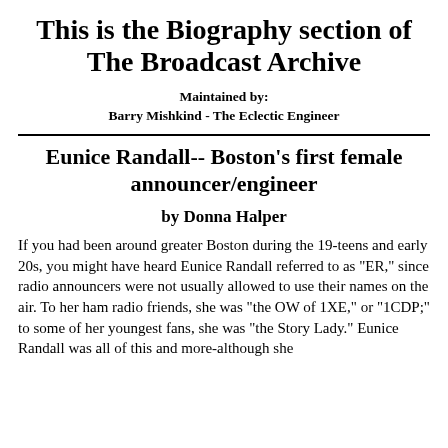This is the Biography section of The Broadcast Archive
Maintained by:
Barry Mishkind - The Eclectic Engineer
Eunice Randall-- Boston's first female announcer/engineer
by Donna Halper
If you had been around greater Boston during the 19-teens and early 20s, you might have heard Eunice Randall referred to as "ER," since radio announcers were not usually allowed to use their names on the air. To her ham radio friends, she was "the OW of 1XE," or "1CDP;" to some of her youngest fans, she was "the Story Lady." Eunice Randall was all of this and more-although she